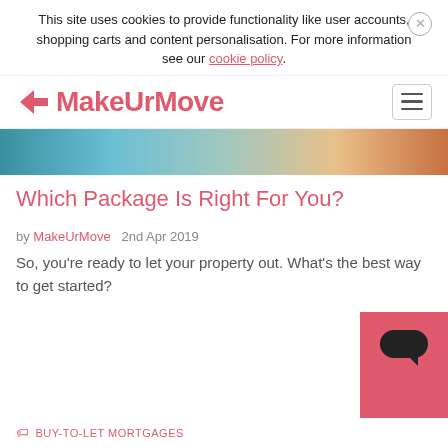This site uses cookies to provide functionality like user accounts, shopping carts and content personalisation. For more information see our cookie policy.
MakeUrMove
[Figure (photo): Partial view of a decorative image, appears to show stones or hands]
Which Package Is Right For You?
by MakeUrMove   2nd Apr 2019
So, you're ready to let your property out. What's the best way to get started?
BUY-TO-LET MORTGAGES